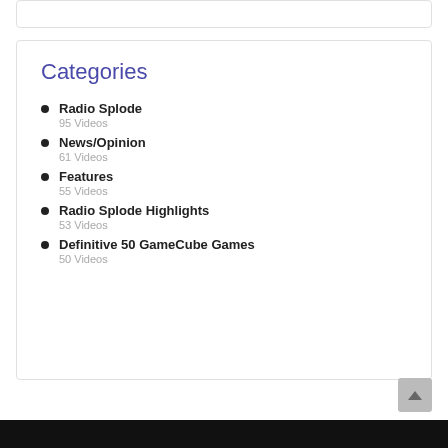Categories
Radio Splode
95 Videos
News/Opinion
61 Videos
Features
55 Videos
Radio Splode Highlights
53 Videos
Definitive 50 GameCube Games
50 Videos